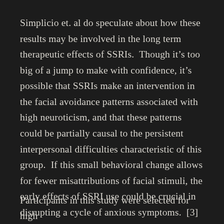Simplicio et. al do speculate about how these results may be involved in the long term therapeutic effects of SSRIs.  Though it’s too big of a jump to make with confidence, it’s possible that SSRIs make an intervention in the facial avoidance patterns associated with high neuroticism, and that these patterns could be partially causal to the persistent interpersonal difficulties characteristic of this group.  If this small behavioral change allows for fewer misattributions of facial stimuli, the early effects of SSRI use could be crucial in disrupting a cycle of anxious symptoms.  [3]
Participants in this study were selected for high...